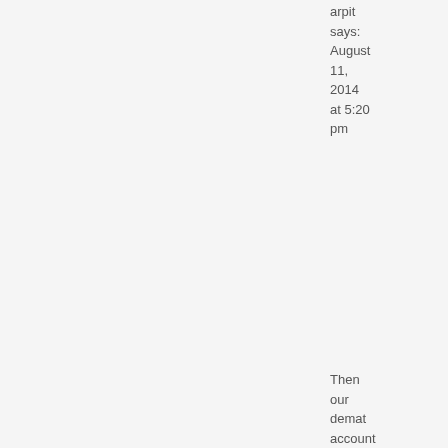arpit says: August 11, 2014 at 5:20 pm
Then our demat account which is currently with ILFS will be transferred to Zerodha? If yes